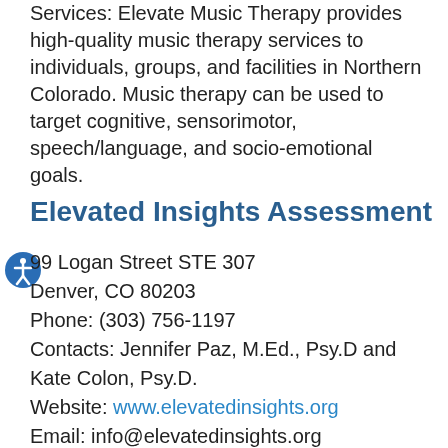Services: Elevate Music Therapy provides high-quality music therapy services to individuals, groups, and facilities in Northern Colorado. Music therapy can be used to target cognitive, sensorimotor, speech/language, and socio-emotional goals.
Elevated Insights Assessment
99 Logan Street STE 307
Denver, CO 80203
Phone: (303) 756-1197
Contacts: Jennifer Paz, M.Ed., Psy.D and Kate Colon, Psy.D.
Website: www.elevatedinsights.org
Email: info@elevatedinsights.org
Ages: 3-24 years old
Services: Elevated Insights Assessment provides scientifically grounded and culturally responsive